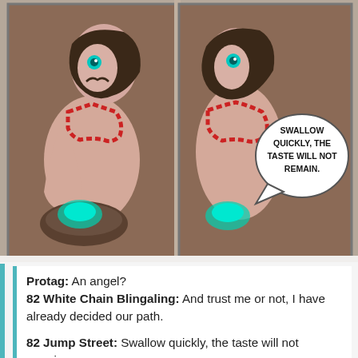[Figure (illustration): Two-panel comic strip showing fantasy/anime-style characters. Left panel: a figure with red bead necklace and teal/blue glowing eyes. Right panel: similar figure with a speech bubble reading 'SWALLOW QUICKLY, THE TASTE WILL NOT REMAIN.']
Protag: An angel?
82 White Chain Blingaling: And trust me or not, I have already decided our path.
82 Jump Street: Swallow quickly, the taste will not remain.
So, what did you spike her drink with?
Honestly, protag, accepting the drink that 82 over here gave you while they said “Drink this,” in response to “What’s the catch”... not your brightest